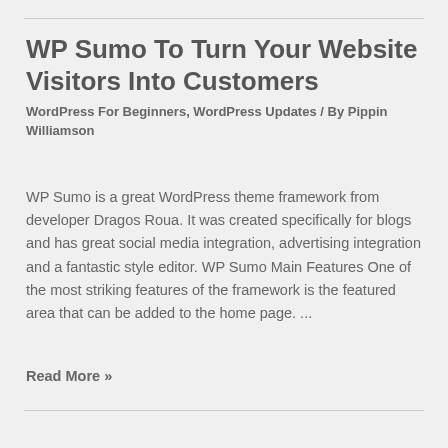WP Sumo To Turn Your Website Visitors Into Customers
WordPress For Beginners, WordPress Updates / By Pippin Williamson
WP Sumo is a great WordPress theme framework from developer Dragos Roua. It was created specifically for blogs and has great social media integration, advertising integration and a fantastic style editor. WP Sumo Main Features One of the most striking features of the framework is the featured area that can be added to the home page. ...
Read More »